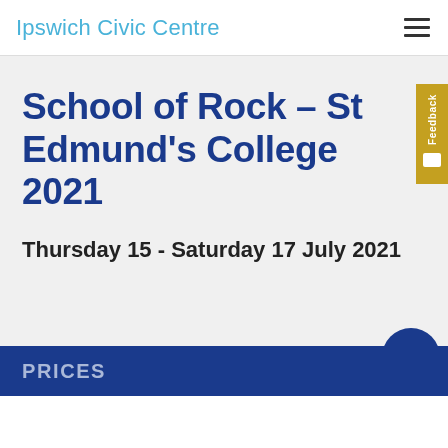Ipswich Civic Centre
School of Rock – St Edmund's College 2021
Thursday 15 - Saturday 17 July 2021
PRICES